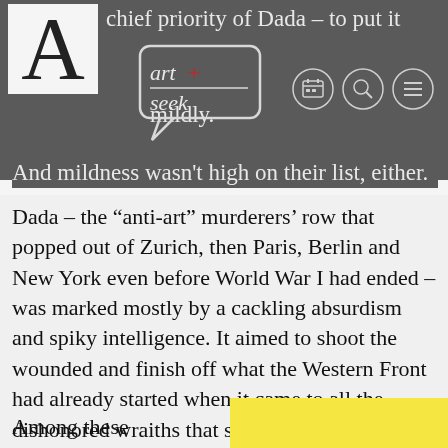chief priority of Dada – to put it mildly.
[Figure (logo): Art Seek logo — stylized text 'art+seek' inside a speech bubble outline]
And mildness wasn't high on their list, either.
Dada – the “anti-art” murderers’ row that popped out of Zurich, then Paris, Berlin and New York even before World War I had ended – was marked mostly by a cackling absurdism and spiky intelligence. It aimed to shoot the wounded and finish off what the Western Front had already started when it came to all the dishonored wraiths that still staggered around the trenches – classic conventions like rationality, beauty, patriotism, glory.
Among these